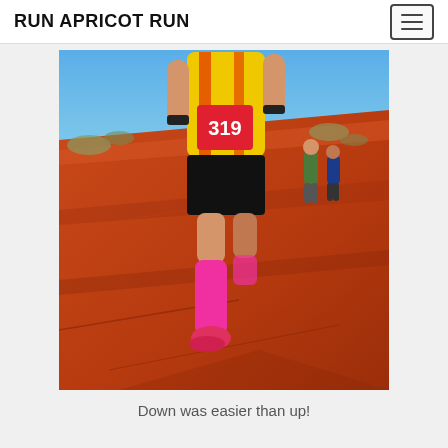RUN APRICOT RUN
[Figure (photo): A runner wearing a yellow singlet with race number 319, black shorts, and bright pink compression socks and pink/red running shoes, running down a red sand dune (likely Uluru/Ayers Rock area in Australia). Two other runners visible in the background against a blue sky.]
Down was easier than up!